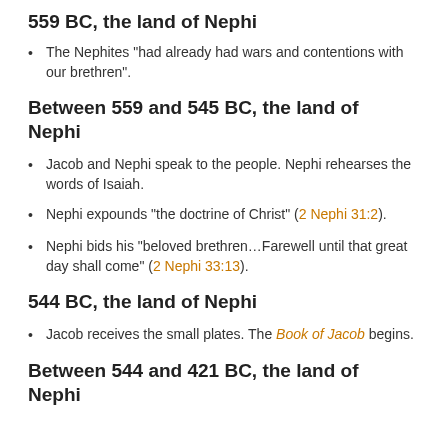559 BC, the land of Nephi
The Nephites “had already had wars and contentions with our brethren”.
Between 559 and 545 BC, the land of Nephi
Jacob and Nephi speak to the people. Nephi rehearses the words of Isaiah.
Nephi expounds “the doctrine of Christ” (2 Nephi 31:2).
Nephi bids his “beloved brethren…Farewell until that great day shall come” (2 Nephi 33:13).
544 BC, the land of Nephi
Jacob receives the small plates. The Book of Jacob begins.
Between 544 and 421 BC, the land of Nephi